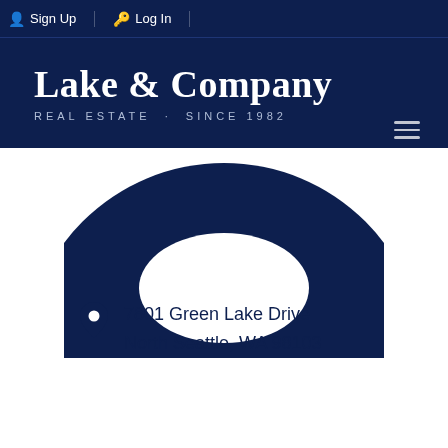Sign Up  Log In
Lake & Company
REAL ESTATE · SINCE 1982
[Figure (illustration): Dark navy blue circle partially visible, upper arc cropped with white cutout at top, appearing as a large decorative graphic element]
7801 Green Lake Drive
North Seattle, WA 98103